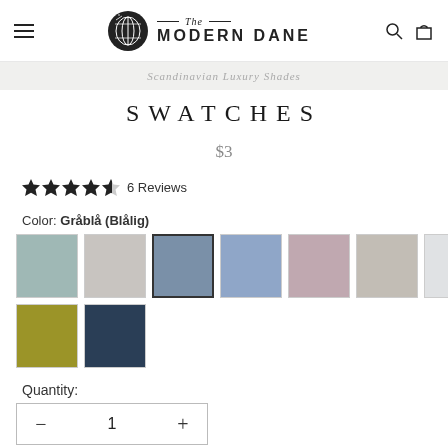The Modern Dane — navigation header with logo, hamburger menu, search and cart icons
SWATCHES
$3
★★★★☆ 6 Reviews
Color: Gråblå (Blålig)
[Figure (other): 9 fabric color swatches in a 7+2 grid. Row 1: sage green, light grey, medium blue-grey (selected, outlined), periwinkle blue, dusty mauve, light taupe, very light grey/white. Row 2: olive/chartreuse, dark navy.]
Quantity:
− 1 +